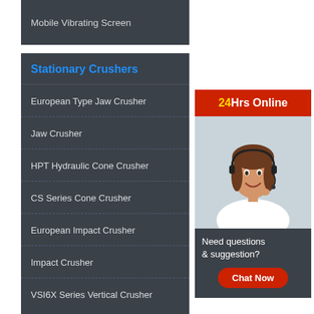Mobile Vibrating Screen
Stationary Crushers
European Type Jaw Crusher
Jaw Crusher
HPT Hydraulic Cone Crusher
CS Series Cone Crusher
European Impact Crusher
Impact Crusher
VSI6X Series Vertical Crusher
[Figure (photo): Woman wearing headset smiling, customer service representative, with 24Hrs Online banner and Chat Now button]
24Hrs Online
Need questions & suggestion?
Chat Now